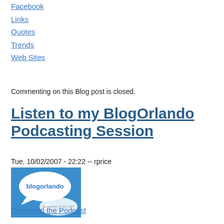Facebook
Links
Quotes
Trends
Web Sites
Commenting on this Blog post is closed.
Listen to my BlogOrlando Podcasting Session
Tue, 10/02/2007 - 22:22 -- rprice
[Figure (photo): BlogOrlando logo image with speech bubbles and text 'blogorlando' and 'September 21-29, 2007']
Download the Podcast